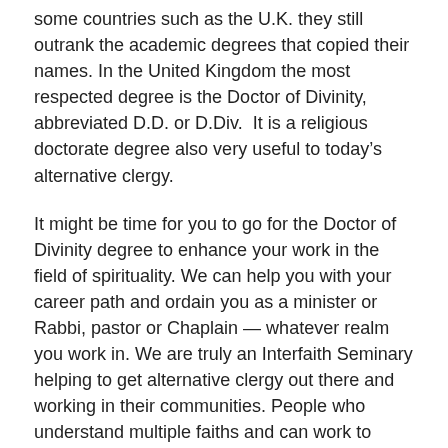some countries such as the U.K. they still outrank the academic degrees that copied their names. In the United Kingdom the most respected degree is the Doctor of Divinity, abbreviated D.D. or D.Div.  It is a religious doctorate degree also very useful to today's alternative clergy.
It might be time for you to go for the Doctor of Divinity degree to enhance your work in the field of spirituality. We can help you with your career path and ordain you as a minister or Rabbi, pastor or Chaplain — whatever realm you work in. We are truly an Interfaith Seminary helping to get alternative clergy out there and working in their communities. People who understand multiple faiths and can work to bring interfaith understanding are needed now more than ever, considering the “holy wars” raging all over the world. Just today a news story says Islamic State sickos killed a Hindu priest in Bangladesh at his temple.
Alternative clergy can make a difference and are working right